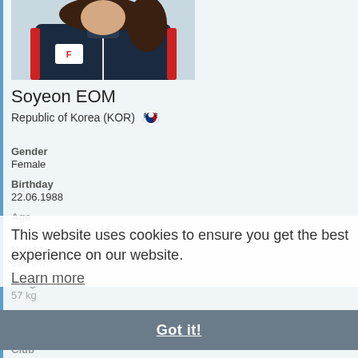[Figure (photo): Photo of Soyeon EOM wearing a dark navy jacket with red accents and Fila logo]
Soyeon EOM
Republic of Korea (KOR) 🇰🇷
Gender
Female
Birthday
22.06.1988
Age
34 years 2 months 15 days
Height
160 cm
Weight
57 kg
Profession
Athlete
This website uses cookies to ensure you get the best experience on our website.
Learn more
Got it!
Club
Eui Jeong City Hall